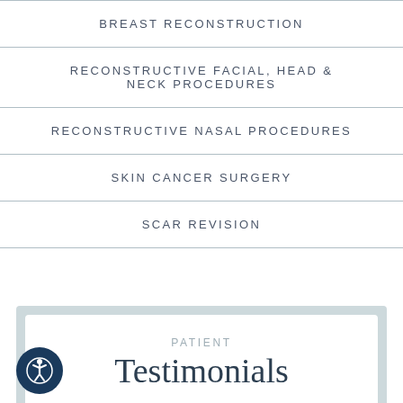BREAST RECONSTRUCTION
RECONSTRUCTIVE FACIAL, HEAD & NECK PROCEDURES
RECONSTRUCTIVE NASAL PROCEDURES
SKIN CANCER SURGERY
SCAR REVISION
PATIENT Testimonials